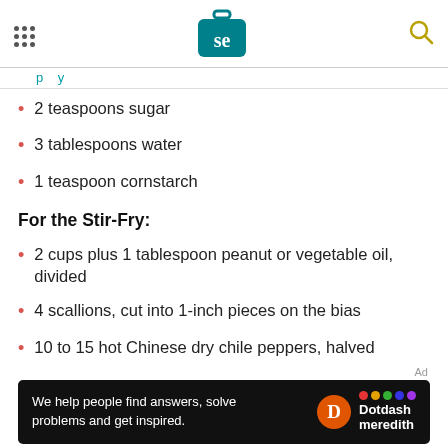Serious Eats logo and navigation header
2 teaspoons sugar
3 tablespoons water
1 teaspoon cornstarch
For the Stir-Fry:
2 cups plus 1 tablespoon peanut or vegetable oil, divided
4 scallions, cut into 1-inch pieces on the bias
10 to 15 hot Chinese dry chile peppers, halved
[Figure (other): Dotdash Meredith advertisement banner: 'We help people find answers, solve problems and get inspired.']